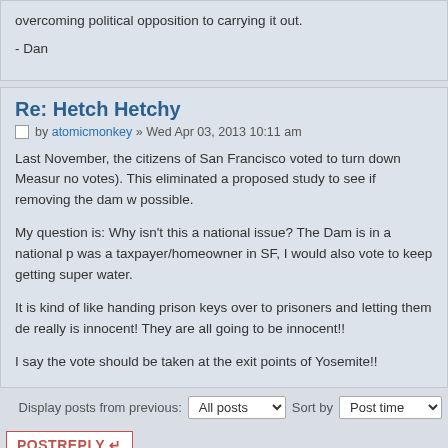overcoming political opposition to carrying it out.

- Dan
Re: Hetch Hetchy
by atomicmonkey » Wed Apr 03, 2013 10:11 am
Last November, the citizens of San Francisco voted to turn down Measure (no votes). This eliminated a proposed study to see if removing the dam w possible.

My question is: Why isn't this a national issue? The Dam is in a national p was a taxpayer/homeowner in SF, I would also vote to keep getting super water.

It is kind of like handing prison keys over to prisoners and letting them de really is innocent! They are all going to be innocent!!

I say the vote should be taken at the exit points of Yosemite!!
Display posts from previous: All posts Sort by Post time
POSTREPLY